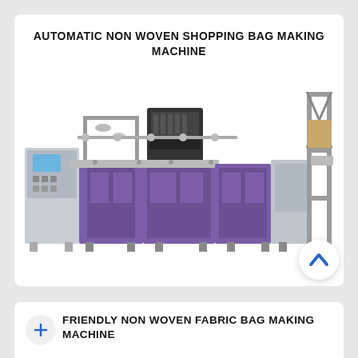AUTOMATIC NON WOVEN SHOPPING BAG MAKING MACHINE
[Figure (photo): Photo of an automatic non woven shopping bag making machine, industrial equipment with purple and grey cabinet sections, control panel on left, multiple processing units, conveyor-style layout.]
[Figure (other): Circular button with upward chevron (^) arrow icon in blue, white background with shadow, used as a scroll-to-top or collapse button.]
FRIENDLY NON WOVEN FABRIC BAG MAKING MACHINE
[Figure (photo): Partial photo at bottom of page showing a friendly non woven fabric bag making machine with teal/light blue and grey components.]